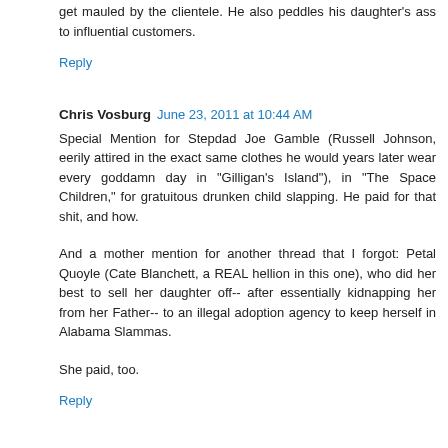get mauled by the clientele. He also peddles his daughter's ass to influential customers.
Reply
Chris Vosburg  June 23, 2011 at 10:44 AM
Special Mention for Stepdad Joe Gamble (Russell Johnson, eerily attired in the exact same clothes he would years later wear every goddamn day in "Gilligan's Island"), in "The Space Children," for gratuitous drunken child slapping. He paid for that shit, and how.
And a mother mention for another thread that I forgot: Petal Quoyle (Cate Blanchett, a REAL hellion in this one), who did her best to sell her daughter off-- after essentially kidnapping her from her Father-- to an illegal adoption agency to keep herself in Alabama Slammas.
She paid, too.
Reply